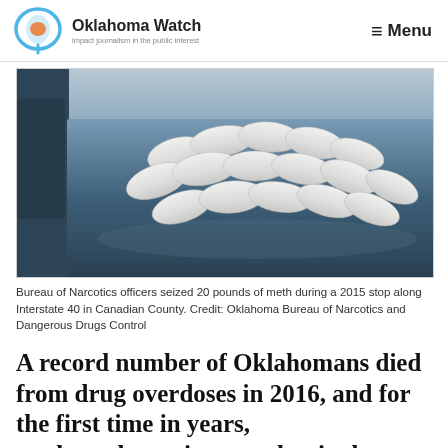Oklahoma Watch — Impact journalism in the public interest | Menu
[Figure (photo): Bags of methamphetamine laid out on the hood of a dark blue car, seized by Bureau of Narcotics officers in 2015 along Interstate 40 in Canadian County.]
Bureau of Narcotics officers seized 20 pounds of meth during a 2015 stop along Interstate 40 in Canadian County. Credit: Oklahoma Bureau of Narcotics and Dangerous Drugs Control
A record number of Oklahomans died from drug overdoses in 2016, and for the first time in years, methamphetamine was the single